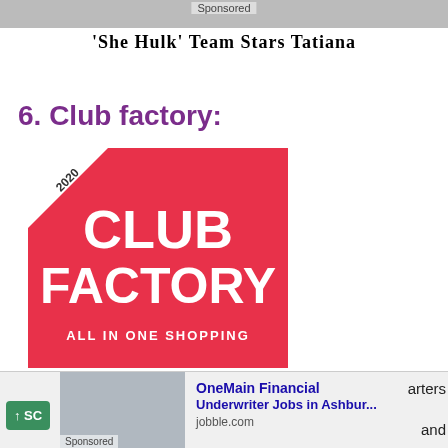[Figure (screenshot): Sponsored banner at top of webpage]
'She Hulk' Team Stars Tatiana
6. Club factory:
[Figure (logo): Club Factory logo - red square with white text reading CLUB FACTORY ALL IN ONE SHOPPING, with 2020 corner triangle]
It is an E-commerce app through which we can do the shopping for garments, beauty products, etc. It provides the service of online shopping. The factory
[Figure (screenshot): Bottom ad bar: scroll button, sponsored image, OneMain Financial Underwriter Jobs in Ashbur... ad from jobble.com]